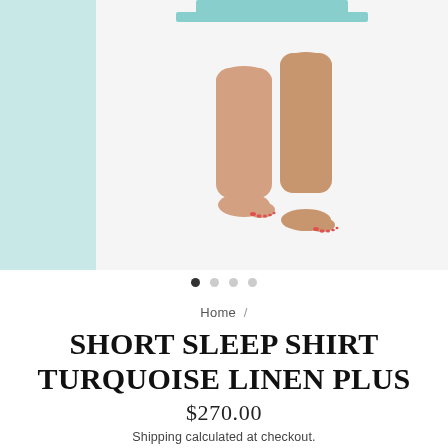[Figure (photo): Product photo showing lower legs and feet of a woman wearing a turquoise linen short sleep shirt; thumbnail strip visible on left with light teal background]
● ○ ○ ○
Home /
SHORT SLEEP SHIRT TURQUOISE LINEN PLUS
$270.00
Shipping calculated at checkout.